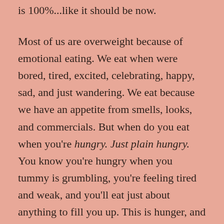is 100%...like it should be now.
Most of us are overweight because of emotional eating. We eat when were bored, tired, excited, celebrating, happy, sad, and just wandering. We eat because we have an appetite from smells, looks, and commercials. But when do you eat when you're hungry. Just plain hungry. You know you're hungry when you tummy is grumbling, you're feeling tired and weak, and you'll eat just about anything to fill you up. This is hunger, and the only time when you should be eating.
It's so important to keep a journal because then when you're feeling that craving, but your body is not hungry, you can write. You can type. You can